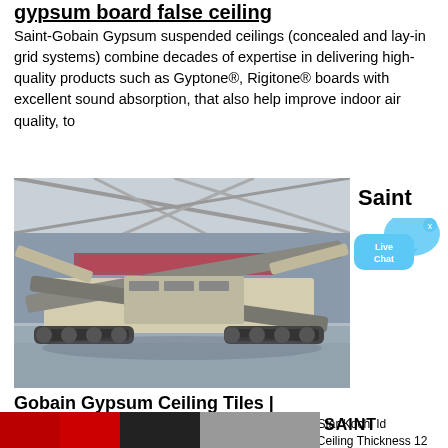gypsum board false ceiling
Saint-Gobain Gypsum suspended ceilings (concealed and lay-in grid systems) combine decades of expertise in delivering high-quality products such as Gyptone®, Rigitone® boards with excellent sound absorption, that also help improve indoor air quality, to
[Figure (photo): Industrial heavy machinery (mobile crusher/screener) parked inside a large warehouse or industrial hall]
Saint
[Figure (infographic): Live Chat button — blue speech bubble with 'Live Chat' text and an X close button]
Gobain Gypsum Ceiling Tiles |
· Gyproc Saint Gobain Gypsum Ceiling Board ​ ​ ​ ​ ​ ​ ​ ​ ​ ​ ​ Gyp Star Kochi Id 15296358097 Gyproc Saint Gobain Gypsumboard False Ceiling Thickness 12 Mm Rs 60 Square Feet Id 21963294197 ...
[Figure (photo): Partial bottom image showing red/dark industrial product and SAINT label text]
SAINT